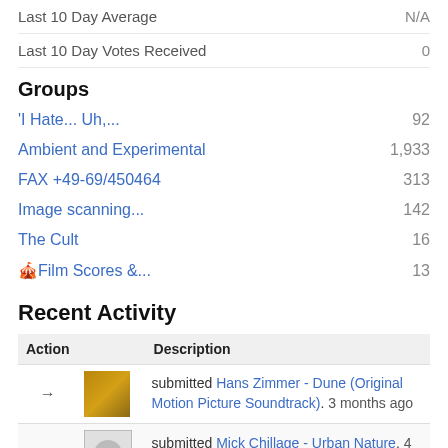Last 10 Day Average    N/A
Last 10 Day Votes Received    0
Groups
'I Hate... Uh,...    92
Ambient and Experimental    1,933
FAX +49-69/450464    313
Image scanning...    142
The Cult    16
🎬Film Scores &...    13
Recent Activity
| Action | Description |
| --- | --- |
| → [album thumbnail] | submitted Hans Zimmer - Dune (Original Motion Picture Soundtrack). 3 months ago |
| → [album thumbnail] | submitted Mick Chillage - Urban Nature. 4 months ago |
| → [album thumbnail] | submitted Various - It Happened At The Hop - Edison International Doo Woppers And Sock Hoppers. 4 |